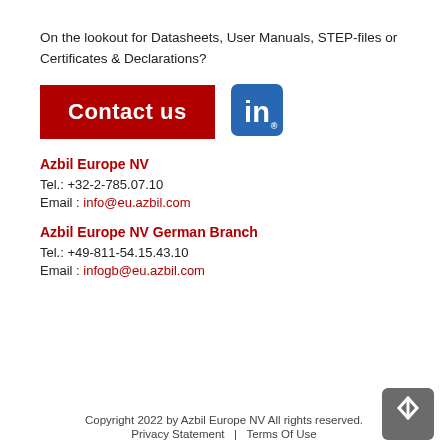On the lookout for Datasheets, User Manuals, STEP-files or Certificates & Declarations?
[Figure (infographic): Red 'Contact us' button banner with LinkedIn logo icon to the right]
Azbil Europe NV
Tel.: +32-2-785.07.10
Email : info@eu.azbil.com
Azbil Europe NV German Branch
Tel.: +49-811-54.15.43.10
Email : infogb@eu.azbil.com
Copyright 2022 by Azbil Europe NV All rights reserved. | Privacy Statement | Terms Of Use